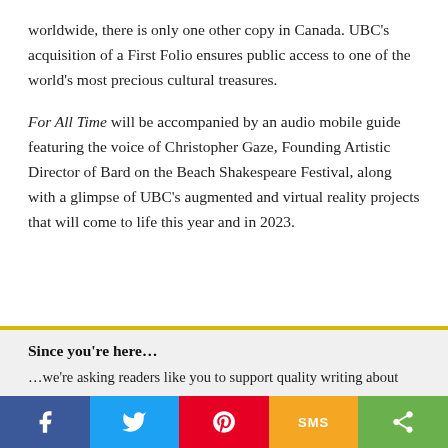worldwide, there is only one other copy in Canada. UBC's acquisition of a First Folio ensures public access to one of the world's most precious cultural treasures.
For All Time will be accompanied by an audio mobile guide featuring the voice of Christopher Gaze, Founding Artistic Director of Bard on the Beach Shakespeare Festival, along with a glimpse of UBC's augmented and virtual reality projects that will come to life this year and in 2023.
Since you're here…
…we're asking readers like you to support quality writing about Western Canada's art and artists during these uncertain times. Galleries West tells timely stories with accessible yet informed writing by arts journalists